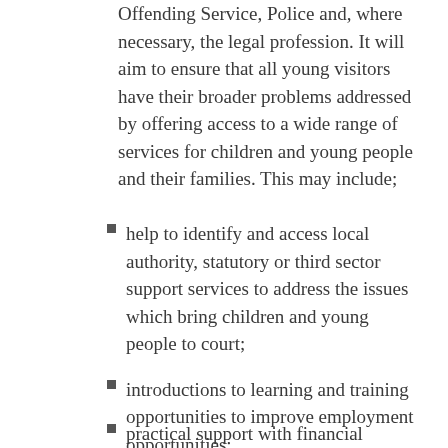Offending Service, Police and, where necessary, the legal profession. It will aim to ensure that all young visitors have their broader problems addressed by offering access to a wide range of services for children and young people and their families. This may include;
help to identify and access local authority, statutory or third sector support services to address the issues which bring children and young people to court;
introductions to learning and training opportunities to improve employment opportunities;
practical support with financial